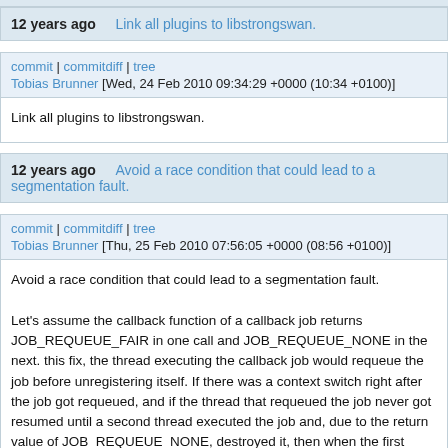12 years ago   Link all plugins to libstrongswan.
commit | commitdiff | tree
Tobias Brunner [Wed, 24 Feb 2010 09:34:29 +0000 (10:34 +0100)]
Link all plugins to libstrongswan.
12 years ago   Avoid a race condition that could lead to a segmentation fault.
commit | commitdiff | tree
Tobias Brunner [Thu, 25 Feb 2010 07:56:05 +0000 (08:56 +0100)]
Avoid a race condition that could lead to a segmentation fault.

Let's assume the callback function of a callback job returns JOB_REQUEUE_FAIR in one call and JOB_REQUEUE_NONE in the next. this fix, the thread executing the callback job would requeue the job before unregistering itself. If there was a context switch right after the job got requeued, and if the thread that requeued the job never got resumed until a second thread executed the job and, due to the return value of JOB_REQUEUE_NONE, destroyed it, then when the first thread